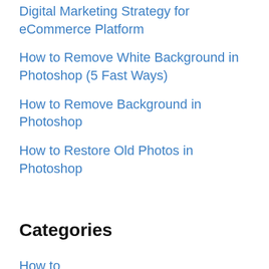Digital Marketing Strategy for eCommerce Platform
How to Remove White Background in Photoshop (5 Fast Ways)
How to Remove Background in Photoshop
How to Restore Old Photos in Photoshop
Categories
How to
Photo Editing Services Reviews
Photo Editing Tutorials
Photography Tips